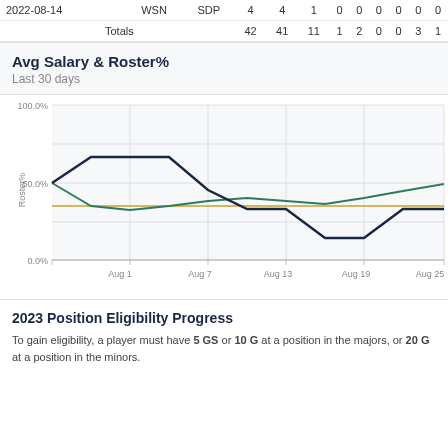| Date | Team | Opp | AB | PA | H | 2B | 3B | HR | RBI | BB | SO |
| --- | --- | --- | --- | --- | --- | --- | --- | --- | --- | --- | --- |
| 2022-08-14 | WSN | SDP | 4 | 4 | 1 | 0 | 0 | 0 | 0 | 0 | 0 |
| Totals |  |  | 42 | 41 | 11 | 1 | 2 | 0 | 0 | 3 | 1 |
Avg Salary & Roster%
Last 30 days
[Figure (line-chart): Avg Salary & Roster% Last 30 days]
2023 Position Eligibility Progress
To gain eligibility, a player must have 5 GS or 10 G at a position in the majors, or 20 G at a position in the minors.